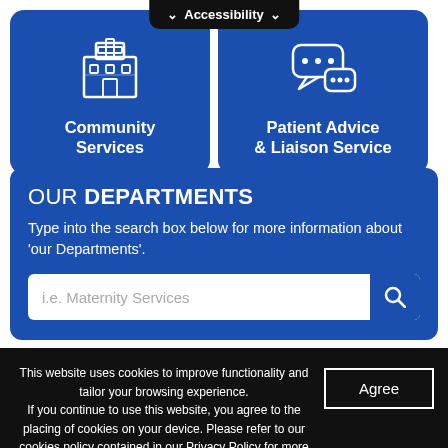[Figure (illustration): Blue card with hospital building icon and 'Community Services' label]
[Figure (illustration): Blue card with speech bubble / chat icon and 'Patient Advice & Liaison Service' label]
OUR DEPARTMENTS
Type into the search box below for more information about 'our Departments'.
i.e. Maternity Services (search box placeholder)
This website uses cookies to improve functionality and tailor your browsing experience. If you continue to use this website, you agree to the placing of cookies on your device. Please refer to our cookies policy contained in our Privacy Policy for more information.